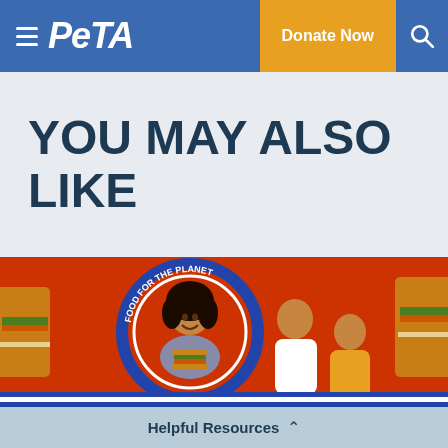PETA — Donate Now
YOU MAY ALSO LIKE
[Figure (photo): People standing in front of a red food truck mural featuring a cartoon person holding a burger, with text 'FOOD FOR THE PLANET' visible]
Helpful Resources ^